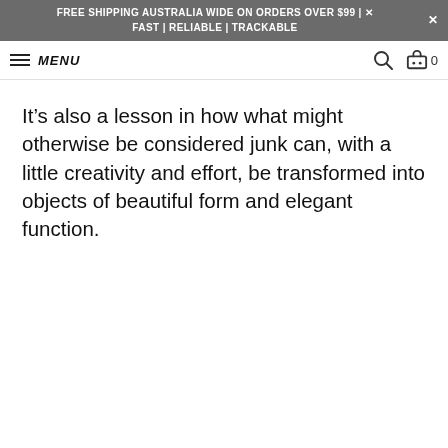FREE SHIPPING AUSTRALIA WIDE ON ORDERS OVER $99 | FAST | RELIABLE | TRACKABLE
MENU
It’s also a lesson in how what might otherwise be considered junk can, with a little creativity and effort, be transformed into objects of beautiful form and elegant function.